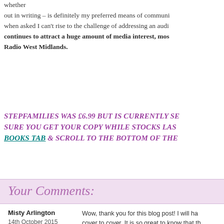whether out in writing – is definitely my preferred means of communi... when asked I can't rise to the challenge of addressing an audi... continues to attract a huge amount of media interest, most notably Radio West Midlands.
STEPFAMILIES WAS £6.99 BUT IS CURRENTLY SE... SURE YOU GET YOUR COPY WHILE STOCKS LAS... BOOKS TAB & SCROLL TO THE BOTTOM OF THE...
Your Comments:
Misty Arlington
14th October 2015 at 1:25pm
Wow, thank you for this blog post! I will ha... cover to cover. It is so great to know that th... families who are struggling with their blend... parent adoption? I am considering the idea... rapidadoption.com where I have been rese... think! Thanks again!